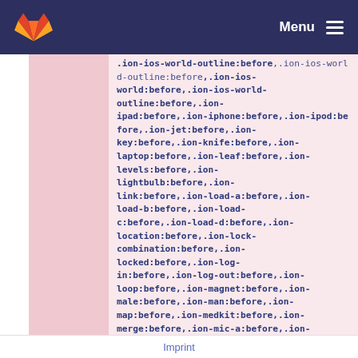GitLab Menu
.ion-ios-world:before,.ion-ios-world-outline:before,.ion-ipad:before,.ion-iphone:before,.ion-ipod:before,.ion-jet:before,.ion-key:before,.ion-knife:before,.ion-laptop:before,.ion-leaf:before,.ion-levels:before,.ion-lightbulb:before,.ion-link:before,.ion-load-a:before,.ion-load-b:before,.ion-load-c:before,.ion-load-d:before,.ion-location:before,.ion-lock-combination:before,.ion-locked:before,.ion-log-in:before,.ion-log-out:before,.ion-loop:before,.ion-magnet:before,.ion-male:before,.ion-man:before,.ion-map:before,.ion-medkit:before,.ion-merge:before,.ion-mic-a:before,.ion-
Imprint